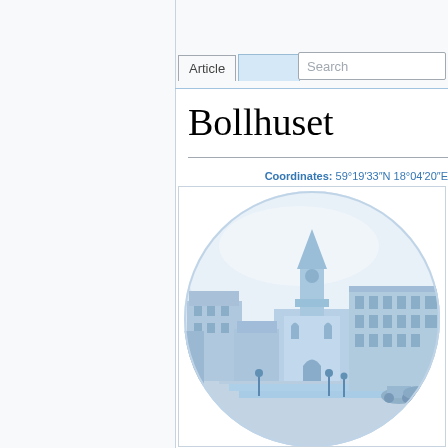Article  Read  Search
Bollhuset
Coordinates: 59°19′33″N 18°04′20″E
[Figure (illustration): A circular blue-toned illustration depicting a historical European city square with a church/tower building in the center background, classical multi-story buildings on the right, and figures and a horse-drawn carriage in the foreground, rendered in a Delft-style blue and white porcelain aesthetic.]